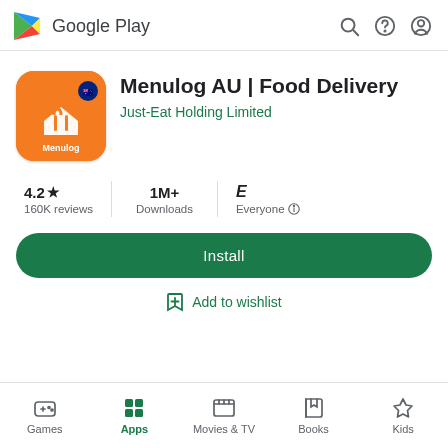Google Play
Menulog AU | Food Delivery
Just-Eat Holding Limited
4.2★ 160K reviews | 1M+ Downloads | Everyone
Install
Add to wishlist
Games | Apps | Movies & TV | Books | Kids